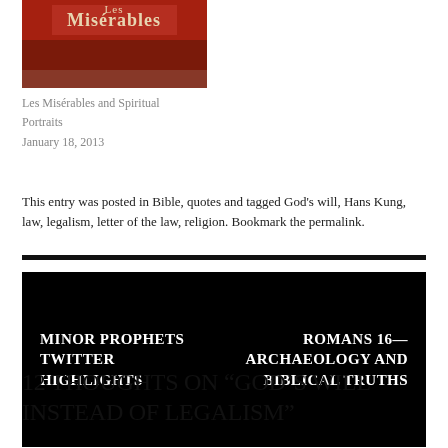[Figure (photo): Book cover for Les Misérables with red and dark tones]
Les Misérables and Spiritual Portraits
January 18, 2013
This entry was posted in Bible, quotes and tagged God's will, Hans Kung, law, legalism, letter of the law, religion. Bookmark the permalink.
MINOR PROPHETS TWITTER HIGHLIGHTS
ROMANS 16—ARCHAEOLOGY AND BIBLICAL TRUTHS
12 THOUGHTS ON "GOD'S WILL INSTEAD OF LEGALISM"